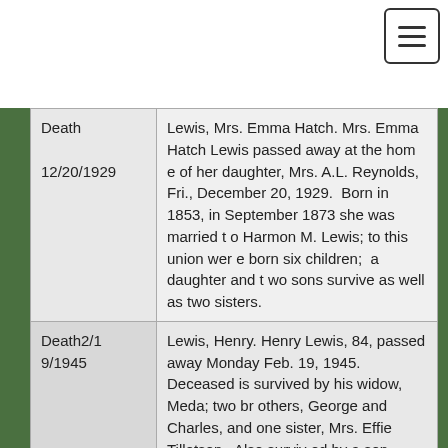| Type/Date | Record |
| --- | --- |
| Death

12/20/1929 | Lewis, Mrs. Emma Hatch. Mrs. Emma Hatch Lewis passed away at the home of her daughter, Mrs. A.L. Reynolds, Fri., December 20, 1929.  Born in 1853, in September 1873 she was married to Harmon M. Lewis; to this union were born six children;  a daughter and two sons survive as well as two sisters. |
| Death2/19/1945 | Lewis, Henry. Henry Lewis, 84, passed away Monday Feb. 19, 1945.  Deceased is survived by his widow, Meda; two brothers, George and Charles, and one sister, Mrs. Effie Tillotson.  Also survived by a son, Wayne Lewis, and a step-daughter, Maude E. Smith. |
| Death | Lewis, Mary E., 78, passed away Wed., |